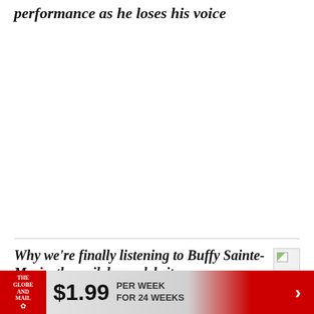performance as he loses his voice
[Figure (other): Blank white image placeholder area]
Why we're finally listening to Buffy Sainte-Marie, the guileless celebrity
[Figure (photo): Small thumbnail image placeholder next to article title]
$1.99 PER WEEK FOR 24 WEEKS — The Globe and Mail advertisement banner